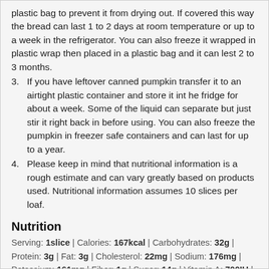(continuation) plastic bag to prevent it from drying out. If covered this way the bread can last 1 to 2 days at room temperature or up to a week in the refrigerator. You can also freeze it wrapped in plastic wrap then placed in a plastic bag and it can lest 2 to 3 months.
3. If you have leftover canned pumpkin transfer it to an airtight plastic container and store it int he fridge for about a week. Some of the liquid can separate but just stir it right back in before using. You can also freeze the pumpkin in freezer safe containers and can last for up to a year.
4. Please keep in mind that nutritional information is a rough estimate and can vary greatly based on products used. Nutritional information assumes 10 slices per loaf.
Nutrition
Serving: 1slice | Calories: 167kcal | Carbohydrates: 32g | Protein: 3g | Fat: 3g | Cholesterol: 22mg | Sodium: 176mg | Potassium: 161mg | Fiber: 1g | Sugar: 14g | Vitamin A: 700IU | Vitamin C: 1.2mg | Calcium: 33mg | Iron: 1.2mg